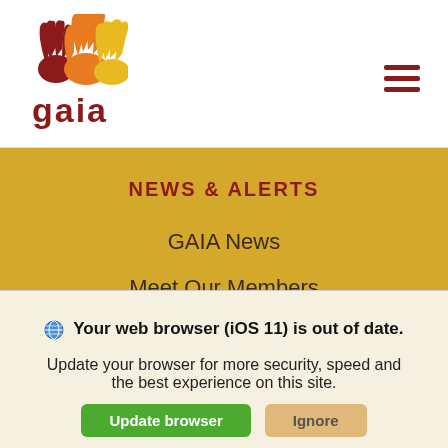[Figure (logo): GAIA organization logo with colorful hand icons above the word 'gaia' in dark red]
NEWS & ALERTS
GAIA News
Meet Our Members
Action Alerts
Press Releases
Your web browser (iOS 11) is out of date. Update your browser for more security, speed and the best experience on this site.